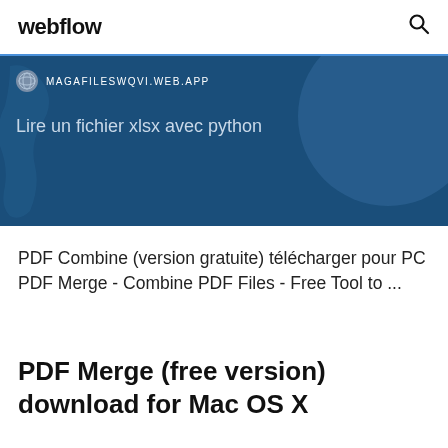webflow
[Figure (screenshot): Blue banner with URL bar showing MAGAFILESWQVI.WEB.APP and text 'Lire un fichier xlsx avec python' on a dark blue background with map silhouette]
PDF Combine (version gratuite) télécharger pour PC PDF Merge - Combine PDF Files - Free Tool to ...
PDF Merge (free version) download for Mac OS X